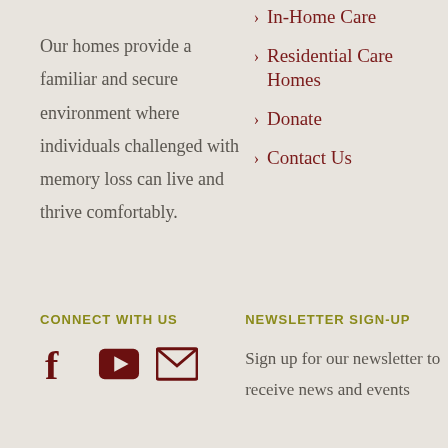Our homes provide a familiar and secure environment where individuals challenged with memory loss can live and thrive comfortably.
In-Home Care
Residential Care Homes
Donate
Contact Us
CONNECT WITH US
[Figure (infographic): Social media icons: Facebook, YouTube, Email]
NEWSLETTER SIGN-UP
Sign up for our newsletter to receive news and events